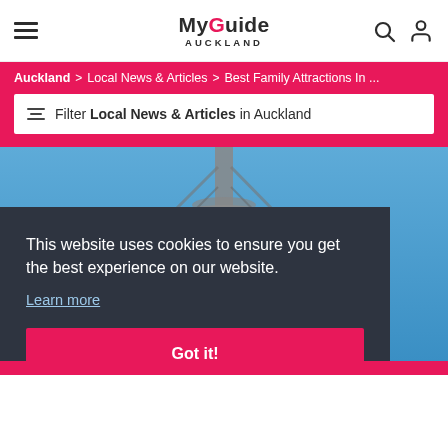MyGuide Auckland — navigation header with hamburger menu, logo, search and account icons
Auckland > Local News & Articles > Best Family Attractions In ...
Filter Local News & Articles in Auckland
[Figure (photo): Photo of the Sky Tower in Auckland viewed from below against a blue sky]
This website uses cookies to ensure you get the best experience on our website. Learn more
Got it!